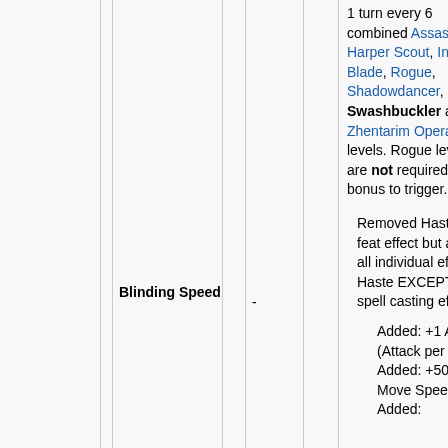| Col1 | Feat Name | Prereq | Notes |
| --- | --- | --- | --- |
|  |  |  | 1 turn every 6 combined Assassin, Harper Scout, Invisible Blade, Rogue, Shadowdancer, Swashbuckler and Zhentarim Operative levels. Rogue levels are not required for this bonus to trigger. |
|  | Blinding Speed | - | Removed Haste as feat effect but added all individual effects of Haste EXCEPT the spell casting effect.
Added: +1 APR (Attack per round)
Added: +50% Move Speed
Added: ... |